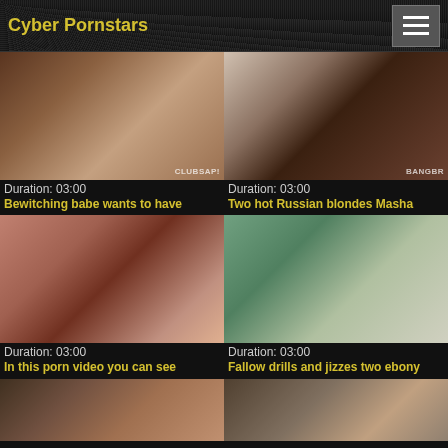Cyber Pornstars
[Figure (photo): Video thumbnail 1]
Duration: 03:00
Bewitching babe wants to have
[Figure (photo): Video thumbnail 2]
Duration: 03:00
Two hot Russian blondes Masha
[Figure (photo): Video thumbnail 3]
Duration: 03:00
In this porn video you can see
[Figure (photo): Video thumbnail 4]
Duration: 03:00
Fallow drills and jizzes two ebony
[Figure (photo): Video thumbnail 5 (partial)]
[Figure (photo): Video thumbnail 6 (partial)]